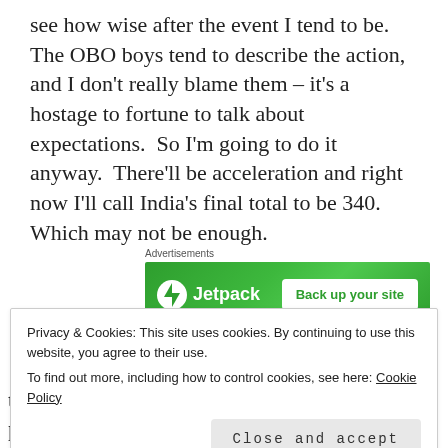see how wise after the event I tend to be.  The OBO boys tend to describe the action, and I don't really blame them – it's a hostage to fortune to talk about expectations.  So I'm going to do it anyway.  There'll be acceleration and right now I'll call India's final total to be 340.  Which may not be enough.
Advertisements
[Figure (other): Jetpack advertisement banner with green background, Jetpack logo on left and 'Back up your site' button on right]
Privacy & Cookies: This site uses cookies. By continuing to use this website, you agree to their use.
To find out more, including how to control cookies, see here: Cookie Policy
Close and accept
to maintain attention to the television, and perhaps that's